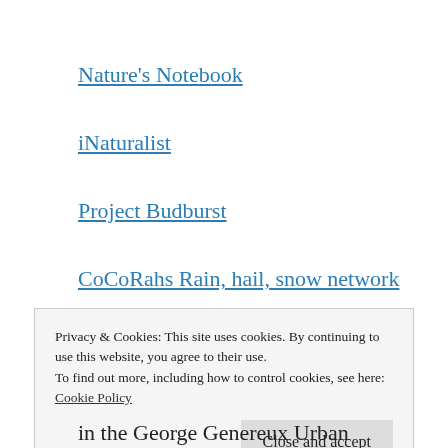Nature's Notebook
iNaturalist
Project Budburst
CoCoRahs Rain, hail, snow network
International Drought Experiment
Privacy & Cookies: This site uses cookies. By continuing to use this website, you agree to their use.
To find out more, including how to control cookies, see here:
Cookie Policy
in the George Genereux Urban Regional park is